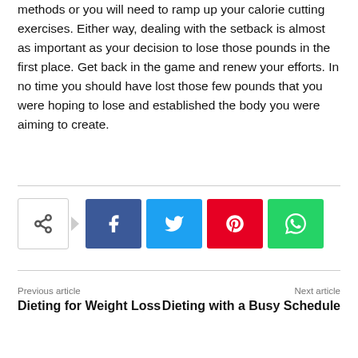methods or you will need to ramp up your calorie cutting exercises. Either way, dealing with the setback is almost as important as your decision to lose those pounds in the first place. Get back in the game and renew your efforts. In no time you should have lost those few pounds that you were hoping to lose and established the body you were aiming to create.
[Figure (infographic): Social share buttons: a share icon box with arrow, followed by Facebook (blue), Twitter (cyan), Pinterest (red), and WhatsApp (green) square buttons]
Previous article
Dieting for Weight Loss
Next article
Dieting with a Busy Schedule